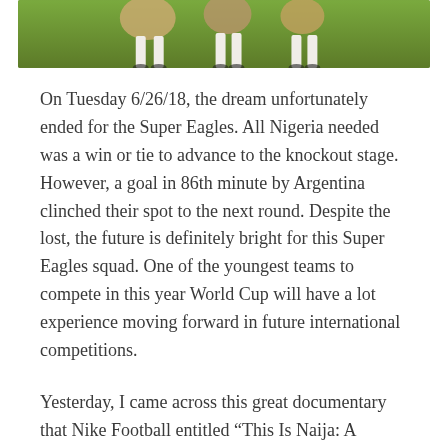[Figure (photo): Partial photo of soccer/football players on a green grass field, showing legs and lower bodies in white uniforms, cropped at top of page]
On Tuesday 6/26/18, the dream unfortunately ended for the Super Eagles. All Nigeria needed was a win or tie to advance to the knockout stage. However, a goal in 86th minute by Argentina clinched their spot to the next round. Despite the lost, the future is definitely bright for this Super Eagles squad. One of the youngest teams to compete in this year World Cup will have a lot experience moving forward in future international competitions.
Yesterday, I came across this great documentary that Nike Football entitled “This Is Naija: A Nigerian Football Story”. The short film discusses the Nigerian Super Eagles impact on the country and the overall